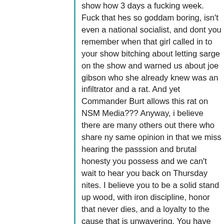show how 3 days a fucking week. Fuck that hes so goddam boring, isn't even a national socialist, and dont you remember when that girl called in to your show bitching about letting sarge on the show and warned us about joe gibson who she already knew was an infiltrator and a rat. And yet Commander Burt allows this rat on NSM Media??? Anyway, i believe there are many others out there who share ny same opinion in that we miss hearing the passsion and brutal honesty you possess and we can't wait to hear you back on Thursday nites. I believe you to be a solid stand up wood, with iron discipline, honor that never dies, and a loyalty to the cause that is unwavering. You have leadership potential and I can see the troops rallying behind you. So hurry back brother, i don't